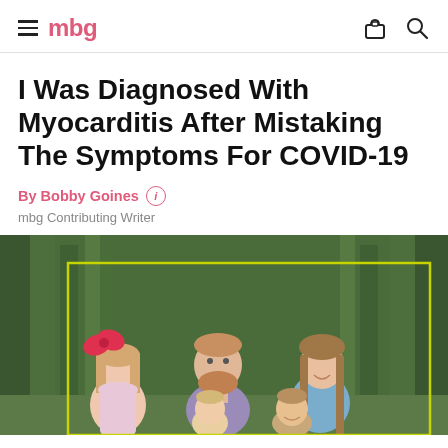mbg
I Was Diagnosed With Myocarditis After Mistaking The Symptoms For COVID-19
By Bobby Goines
mbg Contributing Writer
[Figure (photo): Family photo of a man with a red beard, a woman with long brown hair, a young girl with a red bow, a toddler, and a young boy smiling, posed outdoors in a wooded area. A yellow-green rectangle is drawn around the group. The photo is partially cropped at the bottom.]